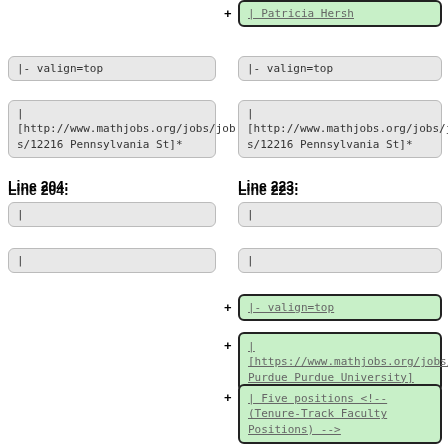[Figure (screenshot): Diff view of wiki markup showing two columns. Left column shows Line 204 with two empty pipe boxes. Right column shows top green box with Patricia Hersh link, then valign=top box, then a URL box with mathjobs.org link to Pennsylvania St, Line 223 header, two empty pipe boxes, then green added boxes: |- valign=top, | [https://www.mathjobs.org/jobs/ Purdue Purdue University], | Five positions <!-- (Tenure-Track Faculty Positions) -->, | Nov 30, and a partial pipe box at the bottom.]